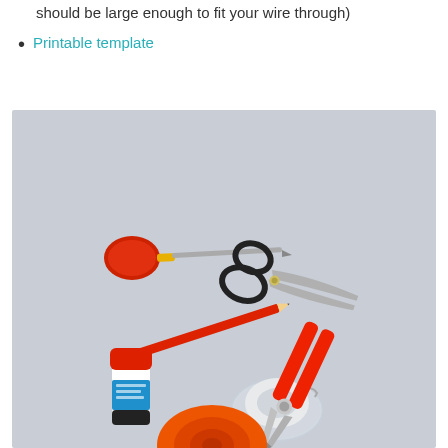should be large enough to fit your wire through)
Printable template
[Figure (photo): A flat lay photo of craft/DIY tools on a light gray surface including: a red-handled screwdriver/awl, a red pencil, scissors with black handles, a glue stick with red cap, a tape dispenser with clear tape, red wire cutters/pliers, and an orange spool of wire/tape at the bottom.]